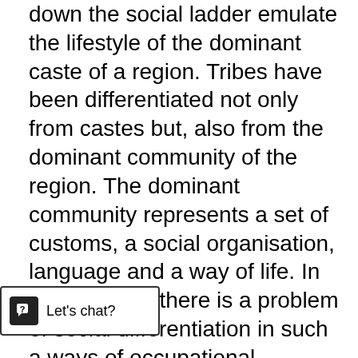down the social ladder emulate the lifestyle of the dominant caste of a region. Tribes have been differentiated not only from castes but, also from the dominant community of the region. The dominant community represents a set of customs, a social organisation, language and a way of life. In tribal society there is a problem of social differentiation in such a ways of occupational differentiation, wealth, income, ideology, values, political orientation, etc., among the members of their community. Tribal society can be described as becoming caste society with the onset of changes in the features that constitute its specific through education, , modern occupations, new technology, etc. (Xaxa 1999).
Earlier, British government introduced Land Acquisition Act 1894, in which the government